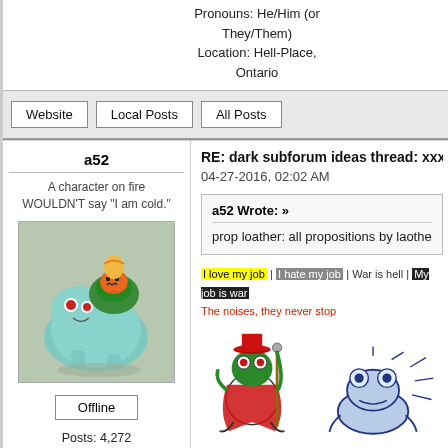Pronouns: He/Him (or They/Them)
Location: Hell-Place, Ontario
Website | Local Posts | All Posts
a52
RE: dark subforum ideas thread: xxx edit
A character on fire WOULDN'T say "I am cold."
04-27-2016, 02:02 AM
[Figure (illustration): Fan art illustration of a Bulbasaur Pokemon dressed in Halloween costume with a pumpkin and an orange-haired figure on its back, teal/green coloring]
Offline
Posts: 4,272
Joined: Jan 2016
Pronouns: officially she
a52 Wrote: »
prop loather: all propositions by laothe
I love my job | I hate my job | War is hell | My job is war
The noises, they never stop
[Figure (illustration): Two cartoon illustrations: a green frog character in a red cape and hat holding a staff, and a blue outlined frog/toad sitting with radiating lines around it]